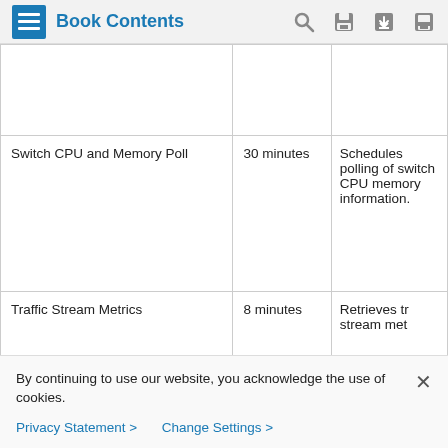Book Contents
|  |  |  |
| --- | --- | --- |
|  |  |  |
| Switch CPU and Memory Poll | 30 minutes | Schedules polling of switch CPU memory information. |
| Traffic Stream Metrics | 8 minutes | Retrieves tr stream met |
By continuing to use our website, you acknowledge the use of cookies.
Privacy Statement > Change Settings >